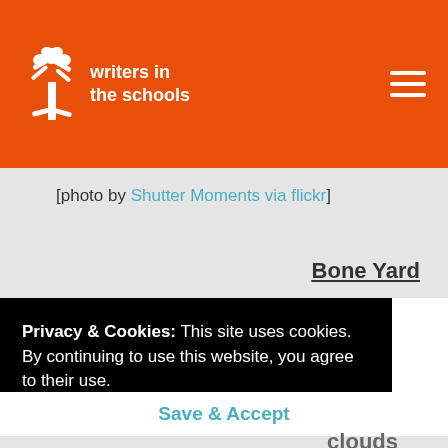writers in the schools
[photo by Shutter Moments via flickr]
Bone Yard
Privacy & Cookies: This site uses cookies. By continuing to use this website, you agree to their use. For more information please view our Terms of Use and Privacy Statement.
Save & Accept
clouds